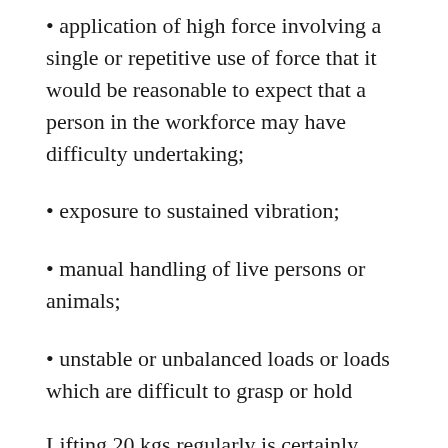application of high force involving a single or repetitive use of force that it would be reasonable to expect that a person in the workforce may have difficulty undertaking;
exposure to sustained vibration;
manual handling of live persons or animals;
unstable or unbalanced loads or loads which are difficult to grasp or hold
Lifting 20 kgs regularly is certainly hazardous – lifting 25 kgs 50 times each day is even more hazardous. If there are other factors, such as